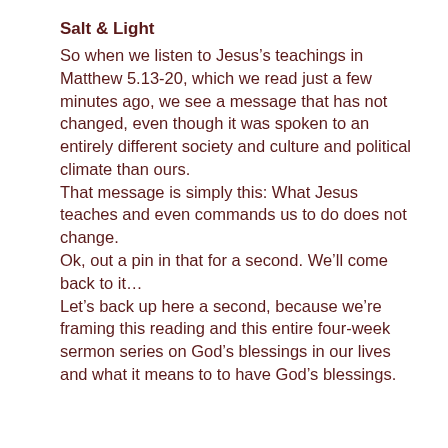Salt & Light
So when we listen to Jesus’s teachings in Matthew 5.13-20, which we read just a few minutes ago, we see a message that has not changed, even though it was spoken to an entirely different society and culture and political climate than ours.
That message is simply this: What Jesus teaches and even commands us to do does not change.
Ok, out a pin in that for a second. We’ll come back to it…
Let’s back up here a second, because we’re framing this reading and this entire four-week sermon series on God’s blessings in our lives and what it means to to have God’s blessings.